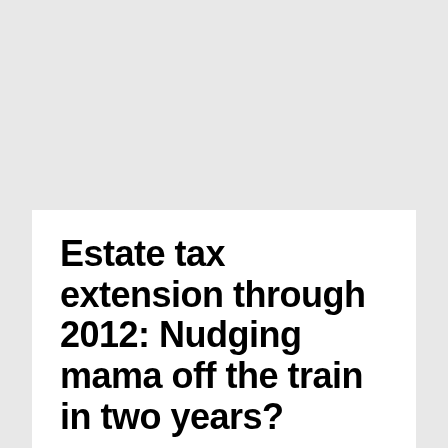Estate tax extension through 2012: Nudging mama off the train in two years?
Saturday, December 18, 2010
[Figure (photo): Night sky photo with blue gradient and tree silhouette visible at bottom right]